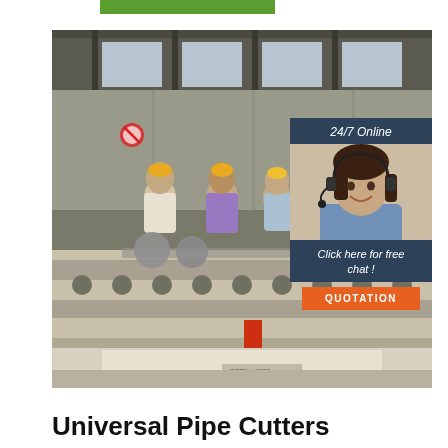[Figure (photo): Green navigation bar at top of webpage]
[Figure (photo): Factory floor photo showing workers in yellow hard hats inspecting pipe cutting machinery in an industrial warehouse setting]
[Figure (photo): 24/7 Online chat widget showing a woman with a headset, with text 'Click here for free chat!' and an orange QUOTATION button]
Universal Pipe Cutters